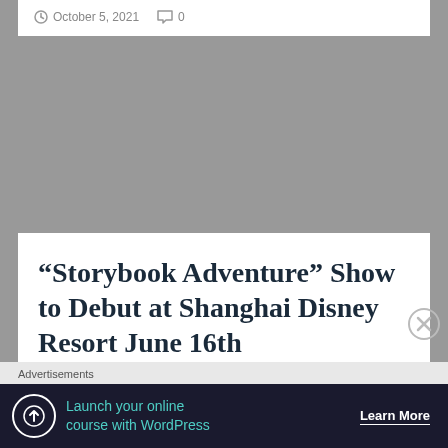October 5, 2021   0
“Storybook Adventure” Show to Debut at Shanghai Disney Resort June 16th
Advertisements
[Figure (screenshot): Advertisement banner: Launch your online course with WordPress — Learn More]